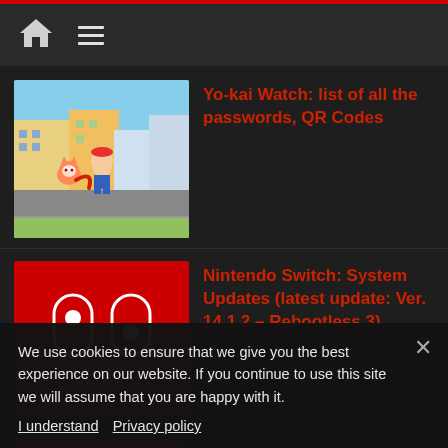Navigation bar with home icon and menu icon
Yo-kai Watch: list of all the passwords, QR Codes
Nintendo Switch: System Updates (latest update: Ver. 14.1.2 – Rebootless 3)
Nintendo Switch: list of games with English option in Japan
Fire Emblem: DLCs and Content Updates
We use cookies to ensure that we give you the best experience on our website. If you continue to use this site we will assume that you are happy with it.
I understand   Privacy policy